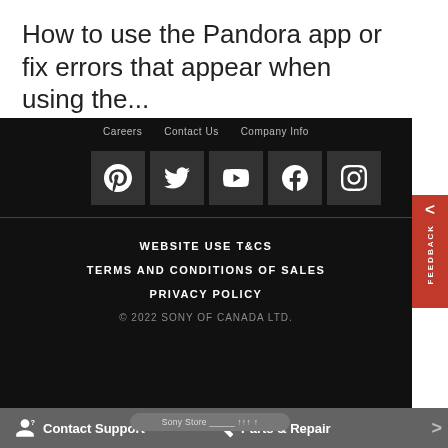How to use the Pandora app or fix errors that appear when using the...
Careers   Contact Us   Company Info
[Figure (infographic): Row of 5 social media icon buttons (Pinterest, Twitter, YouTube, Facebook, Instagram) on dark background with orange feedback tab on right]
WEBSITE USE T&CS
TERMS AND CONDITIONS OF SALES
PRIVACY POLICY
© 2022 SONY OF CANADA LTD.
Contact Support   Parts & Repair